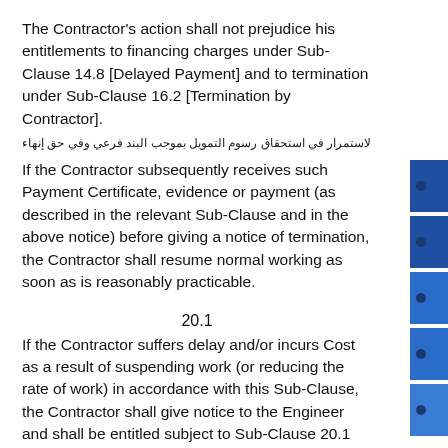The Contractor's action shall not prejudice his entitlements to financing charges under Sub-Clause 14.8 [Delayed Payment] and to termination under Sub-Clause 16.2 [Termination by Contractor].
Arabic text line
If the Contractor subsequently receives such Payment Certificate, evidence or payment (as described in the relevant Sub-Clause and in the above notice) before giving a notice of termination, the Contractor shall resume normal working as soon as is reasonably practicable.
20.1
If the Contractor suffers delay and/or incurs Cost as a result of suspending work (or reducing the rate of work) in accordance with this Sub-Clause, the Contractor shall give notice to the Engineer and shall be entitled subject to Sub-Clause 20.1 [Contractor's Claims]